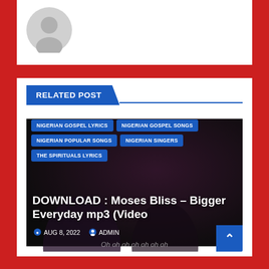[Figure (illustration): Grey default user avatar circle icon on white background]
RELATED POST
[Figure (photo): Dark concert/performance photo used as background for a music download post card, showing performers on stage]
NIGERIAN GOSPEL LYRICS
NIGERIAN GOSPEL SONGS
NIGERIAN POPULAR SONGS
NIGERIAN SINGERS
THE SPIRITUALS LYRICS
DOWNLOAD : Moses Bliss – Bigger Everyday mp3 (Video
AUG 8, 2022  ADMIN
Oh oh oh oh oh oh oh